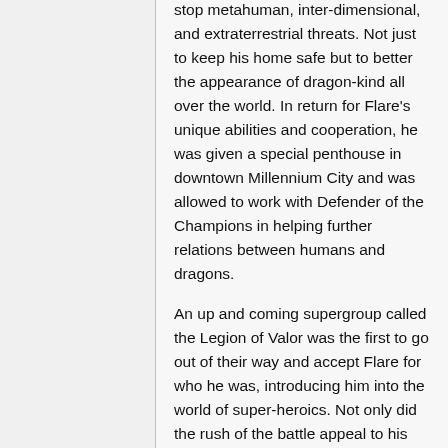stop metahuman, inter-dimensional, and extraterrestrial threats. Not just to keep his home safe but to better the appearance of dragon-kind all over the world. In return for Flare's unique abilities and cooperation, he was given a special penthouse in downtown Millennium City and was allowed to work with Defender of the Champions in helping further relations between humans and dragons.
An up and coming supergroup called the Legion of Valor was the first to go out of their way and accept Flare for who he was, introducing him into the world of super-heroics. Not only did the rush of the battle appeal to his fire dragon nature, but the positive feedback from people was so intense that it determined how Flare would achieve eventual